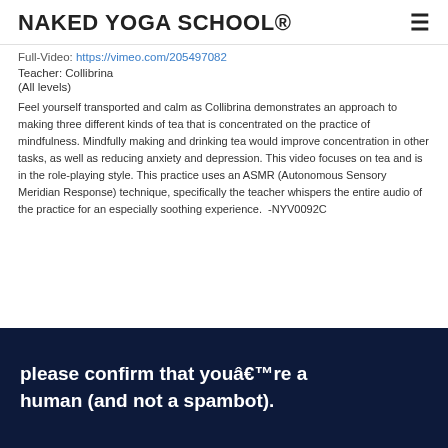NAKED YOGA SCHOOL®
Full-Video: https://vimeo.com/205497082
Teacher: Collibrina
(All levels)
Feel yourself transported and calm as Collibrina demonstrates an approach to making three different kinds of tea that is concentrated on the practice of mindfulness. Mindfully making and drinking tea would improve concentration in other tasks, as well as reducing anxiety and depression. This video focuses on tea and is in the role-playing style. This practice uses an ASMR (Autonomous Sensory Meridian Response) technique, specifically the teacher whispers the entire audio of the practice for an especially soothing experience.  -NYV0092C
[Figure (screenshot): Dark blue video overlay with white bold text reading: please confirm that youâ€™re a human (and not a spambot).]